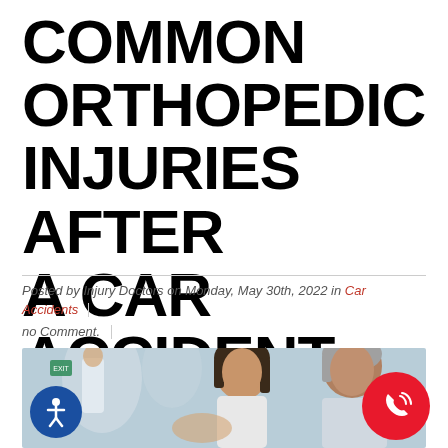COMMON ORTHOPEDIC INJURIES AFTER A CAR ACCIDENT
Posted by Injury Doctors on Monday, May 30th, 2022 in Car Accidents
no Comment.
[Figure (photo): A doctor and patient in a medical consultation setting, with a woman looking down and a grey-haired man beside her. Medical/clinical background.]